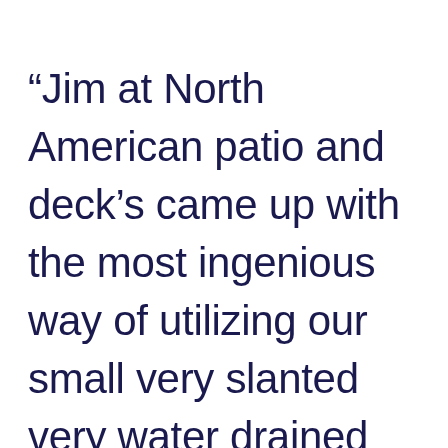“Jim at North American patio and deck’s came up with the most ingenious way of utilizing our small very slanted very water drained environment and turned it into a virtual oasis. Making this deck the envy of all our